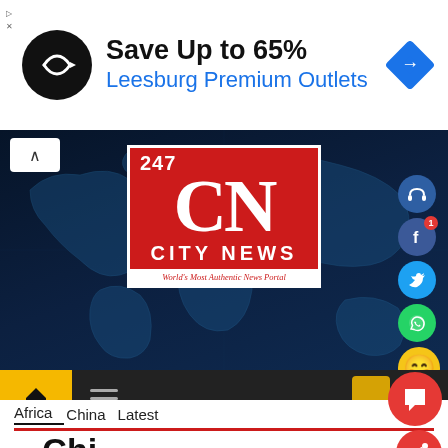[Figure (infographic): Advertisement banner: black circle logo with infinity/arrow symbol, text 'Save Up to 65%' in bold and 'Leesburg Premium Outlets' in blue, blue diamond navigation icon on right]
[Figure (infographic): 247 City News logo on dark blue world map background - red box with white '247', 'CN' in large serif font, 'CITY NEWS' text, and tagline 'World's Most Authentic News Portal']
[Figure (infographic): Social media icons on right side: headphone icon (dark blue), Facebook (dark blue with notification badge '1'), Twitter (light blue), WhatsApp (green), laughing emoji (yellow)]
[Figure (infographic): Navigation bar: yellow home button, hamburger menu icon on dark background, red floating chat and share buttons]
Africa  China  Latest
...China  Afri...